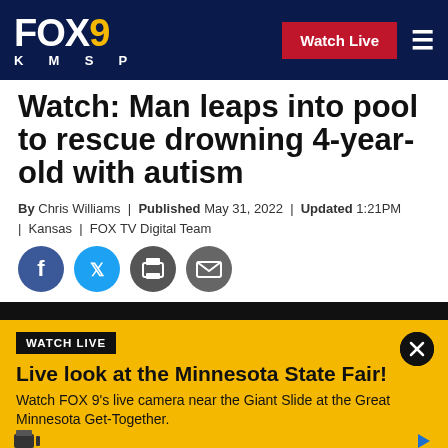FOX 9 KMSP | Watch Live
Watch: Man leaps into pool to rescue drowning 4-year-old with autism
By Chris Williams | Published May 31, 2022 | Updated 1:21PM | Kansas | FOX TV Digital Team
[Figure (other): Social media sharing icons: Facebook, Twitter, Print, Email]
[Figure (screenshot): Video player strip - dark background]
WATCH LIVE
Live look at the Minnesota State Fair!
Watch FOX 9's live camera near the Giant Slide at the Great Minnesota Get-Together.